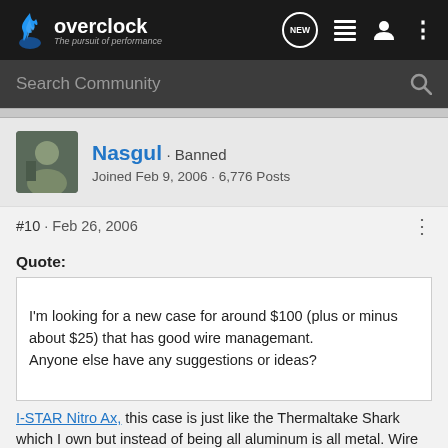overclock - The pursuit of performance
Search Community
Nasgul · Banned
Joined Feb 9, 2006 · 6,776 Posts
#10 · Feb 26, 2006
Quote:
I'm looking for a new case for around $100 (plus or minus about $25) that has good wire managemant.
Anyone else have any suggestions or ideas?
I-STAR Nitro Ax, this case is just like the Thermaltake Shark which I own but instead of being all aluminum is all metal. Wire